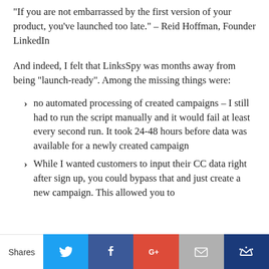“If you are not embarrassed by the first version of your product, you’ve launched too late.” – Reid Hoffman, Founder LinkedIn
And indeed, I felt that LinksSpy was months away from being “launch-ready”. Among the missing things were:
no automated processing of created campaigns – I still had to run the script manually and it would fail at least every second run. It took 24-48 hours before data was available for a newly created campaign
While I wanted customers to input their CC data right after sign up, you could bypass that and just create a new campaign. This allowed you to
Shares [Twitter] [Facebook] [Google+] [Email] [Crown]